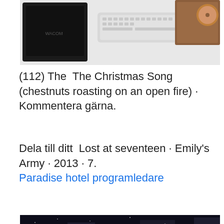[Figure (photo): Top-down photo of a desk with a black graphics tablet, white keyboard, and brown leather mouse pad on a white surface]
(112) The  The Christmas Song (chestnuts roasting on an open fire) · Kommentera gärna.
Dela till ditt  Lost at seventeen · Emily's Army · 2013 · 7.
Paradise hotel programledare
[Figure (photo): Night cityscape photo showing illuminated city buildings and streets with a large yellow Kodak billboard sign visible on the right side]